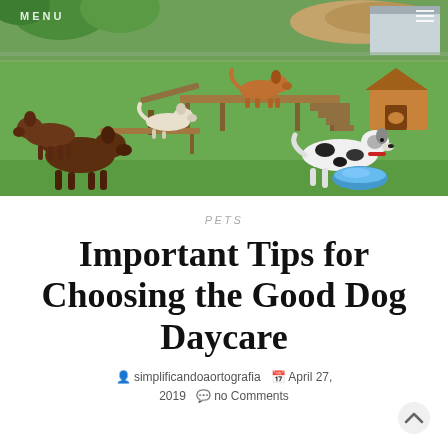[Figure (photo): Outdoor dog daycare facility with several dogs playing on grass. Multiple dogs of different breeds are visible, including a white/black spotted dog near a blue water bowl, a golden/red dog on a raised platform, a white lab on a ramp, and brown/chocolate dogs on the grass. The facility has wooden agility equipment, a green chain-link fence, and a small wooden doghouse in the upper right.]
PETS
Important Tips for Choosing the Good Dog Daycare
simplificandoaortografia  April 27, 2019  no Comments